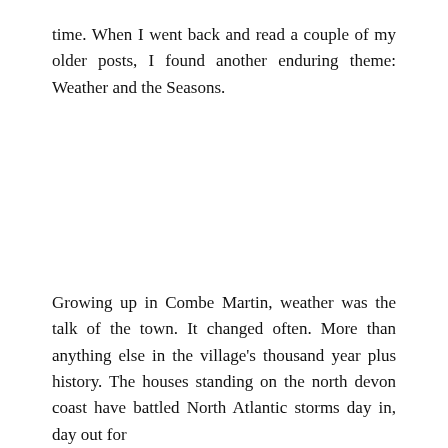time. When I went back and read a couple of my older posts, I found another enduring theme: Weather and the Seasons.
Growing up in Combe Martin, weather was the talk of the town. It changed often. More than anything else in the village's thousand year plus history. The houses standing on the north devon coast have battled North Atlantic storms day in, day out for